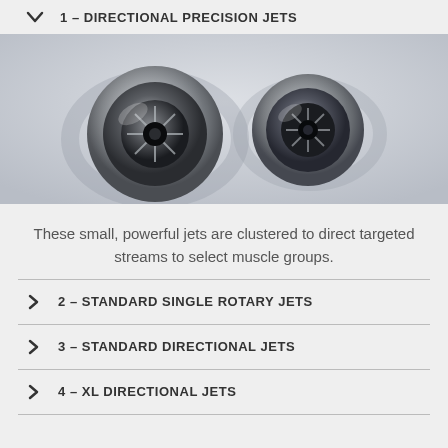1 – DIRECTIONAL PRECISION JETS
[Figure (photo): Close-up photo of two circular directional precision jets embedded in a white hot tub surface, showing metallic rotary jet mechanisms]
These small, powerful jets are clustered to direct targeted streams to select muscle groups.
2 – STANDARD SINGLE ROTARY JETS
3 – STANDARD DIRECTIONAL JETS
4 – XL DIRECTIONAL JETS